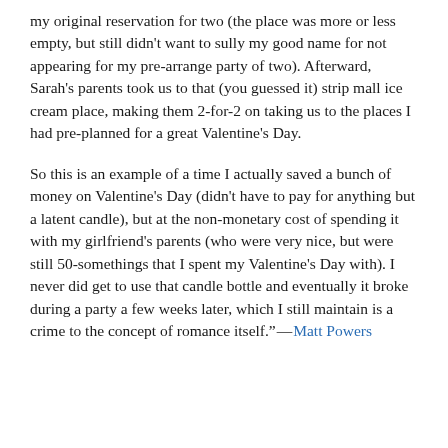my original reservation for two (the place was more or less empty, but still didn't want to sully my good name for not appearing for my pre-arrange party of two). Afterward, Sarah's parents took us to that (you guessed it) strip mall ice cream place, making them 2-for-2 on taking us to the places I had pre-planned for a great Valentine's Day.
So this is an example of a time I actually saved a bunch of money on Valentine's Day (didn't have to pay for anything but a latent candle), but at the non-monetary cost of spending it with my girlfriend's parents (who were very nice, but were still 50-somethings that I spent my Valentine's Day with). I never did get to use that candle bottle and eventually it broke during a party a few weeks later, which I still maintain is a crime to the concept of romance itself." —Matt Powers